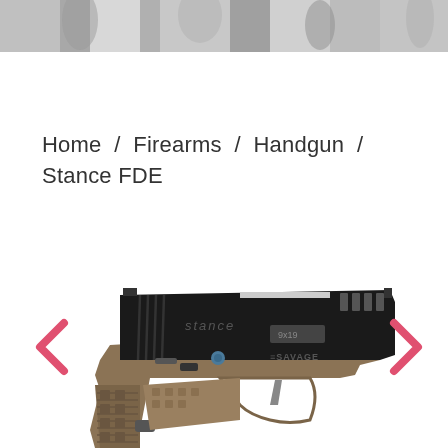[Figure (photo): Top banner with zebra-striped or camouflage-patterned image strip]
Home / Firearms / Handgun / Stance FDE
[Figure (photo): Product photo of a Savage Stance FDE handgun (9x19mm) with black slide and flat dark earth (FDE) polymer frame, shown in profile view. Left and right navigation arrows visible on either side.]